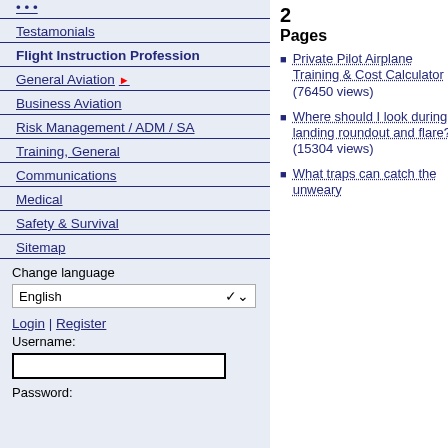Testamonials
Flight Instruction Profession
General Aviation
Business Aviation
Risk Management / ADM / SA
Training, General
Communications
Medical
Safety & Survival
Sitemap
Change language
English
Login | Register
Username:
Password:
2
Pages
Private Pilot Airplane Training & Cost Calculator (76450 views)
Where should I look during landing roundout and flare? (15304 views)
What traps can catch the unweary